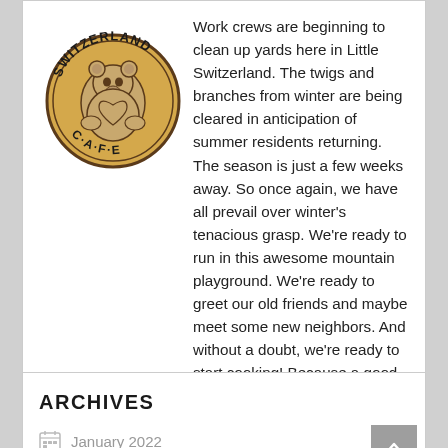[Figure (logo): Switzerland Cafe logo: circular badge with tan/gold background, bear illustration in center, 'SWITZERLAND' text at top, 'C·A·F·E' text at bottom]
Work crews are beginning to clean up yards here in Little Switzerland. The twigs and branches from winter are being cleared in anticipation of summer residents returning. The season is just a few weeks away. So once again, we have all prevail over winter's tenacious grasp. We're ready to run in this awesome mountain playground. We're ready to greet our old friends and maybe meet some new neighbors. And without a doubt, we're ready to start cooking! Because a good meal with friends is the very best part of summer. The very best part of us.
ARCHIVES
January 2022
February 2018